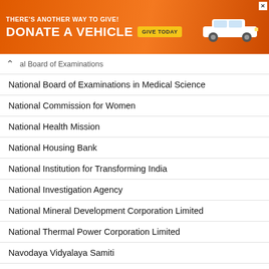[Figure (other): Orange advertisement banner: 'THERE'S ANOTHER WAY TO GIVE! DONATE A VEHICLE' with a car image and 'GIVE TODAY' yellow button]
National Board of Examinations in Medical Science
National Commission for Women
National Health Mission
National Housing Bank
National Institution for Transforming India
National Investigation Agency
National Mineral Development Corporation Limited
National Thermal Power Corporation Limited
Navodaya Vidyalaya Samiti
Nayab Tehsildar
NBCC (India) Limited
NCERT